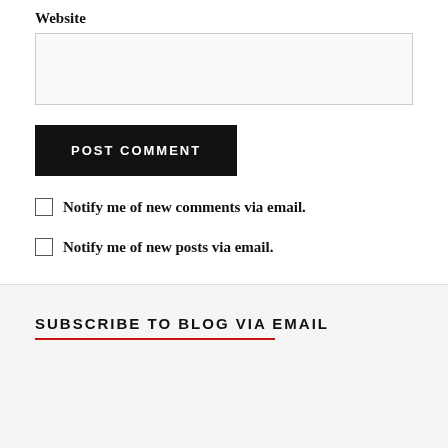Website
[Figure (other): Website text input field, empty, light gray background with border]
POST COMMENT
Notify me of new comments via email.
Notify me of new posts via email.
SUBSCRIBE TO BLOG VIA EMAIL